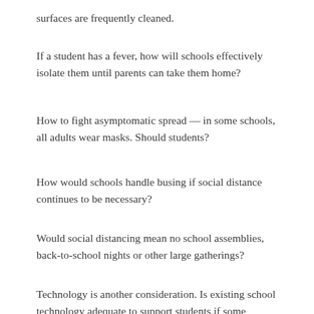surfaces are frequently cleaned.
If a student has a fever, how will schools effectively isolate them until parents can take them home?
How to fight asymptomatic spread — in some schools, all adults wear masks. Should students?
How would schools handle busing if social distance continues to be necessary?
Would social distancing mean no school assemblies, back-to-school nights or other large gatherings?
Technology is another consideration. Is existing school technology adequate to support students if some instruction continues to be delivered digitally?